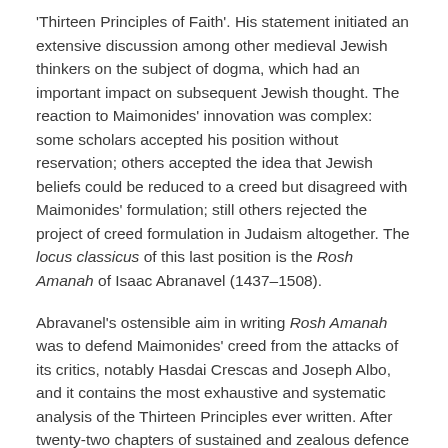'Thirteen Principles of Faith'. His statement initiated an extensive discussion among other medieval Jewish thinkers on the subject of dogma, which had an important impact on subsequent Jewish thought. The reaction to Maimonides' innovation was complex: some scholars accepted his position without reservation; others accepted the idea that Jewish beliefs could be reduced to a creed but disagreed with Maimonides' formulation; still others rejected the project of creed formulation in Judaism altogether. The locus classicus of this last position is the Rosh Amanah of Isaac Abranavel (1437–1508).
Abravanel's ostensible aim in writing Rosh Amanah was to defend Maimonides' creed from the attacks of its critics, notably Hasdai Crescas and Joseph Albo, and it contains the most exhaustive and systematic analysis of the Thirteen Principles ever written. After twenty-two chapters of sustained and zealous defence of Maimonides, however, Abravanel seems to contradict himself and state the end of his book that...